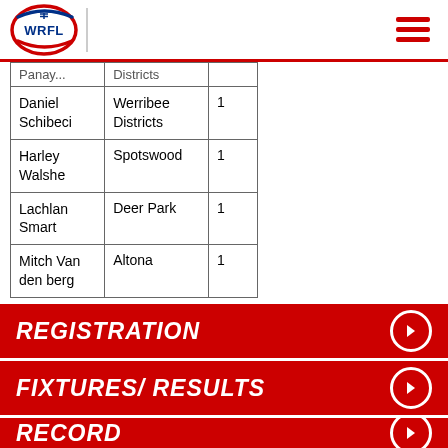WRFL
| Player | Club |  |
| --- | --- | --- |
| Panay... | Districts |  |
| Daniel Schibeci | Werribee Districts | 1 |
| Harley Walshe | Spotswood | 1 |
| Lachlan Smart | Deer Park | 1 |
| Mitch Van den berg | Altona | 1 |
REGISTRATION
FIXTURES/ RESULTS
RECORD